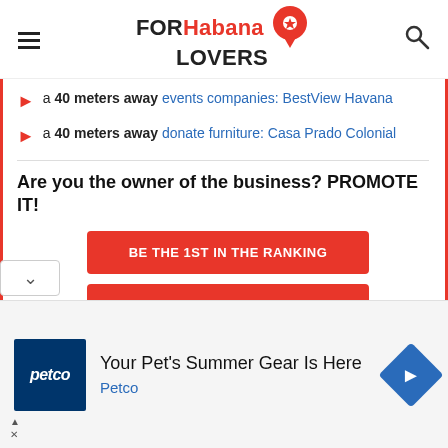[Figure (logo): FORHabana LOVERS logo with red map pin icon, hamburger menu on left, search icon on right]
a 40 meters away events companies: BestView Havana
a 40 meters away donate furniture: Casa Prado Colonial
Are you the owner of the business? PROMOTE IT!
BE THE 1ST IN THE RANKING
EXCLUSIVE PAGE
[Figure (infographic): Petco advertisement: 'Your Pet's Summer Gear Is Here' with Petco logo and blue arrow navigation icon]